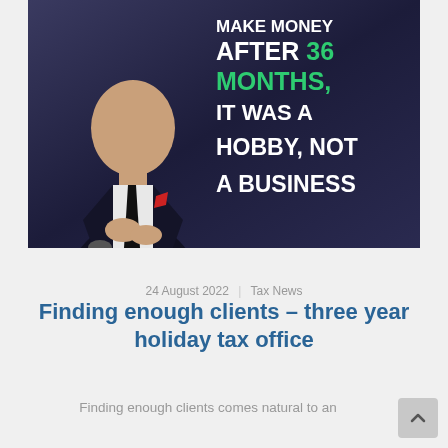[Figure (photo): Photo of a man in a suit with text overlay reading 'MAKE MONEY AFTER 36 MONTHS, IT WAS A HOBBY, NOT A BUSINESS' with '36 MONTHS' in green and the rest in white on a dark background.]
24 August 2022  |  Tax News
Finding enough clients – three year holiday tax office
Finding enough clients comes natural to an